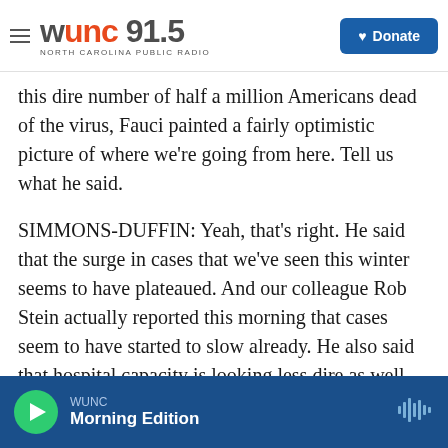WUNC 91.5 — NORTH CAROLINA PUBLIC RADIO | Donate
this dire number of half a million Americans dead of the virus, Fauci painted a fairly optimistic picture of where we're going from here. Tell us what he said.
SIMMONS-DUFFIN: Yeah, that's right. He said that the surge in cases that we've seen this winter seems to have plateaued. And our colleague Rob Stein actually reported this morning that cases seem to have started to slow already. He also said that hospital capacity is looking less dire as well. He talked about the variants of the virus. He called them mutants in the U.K. and what he called a
WUNC | Morning Edition